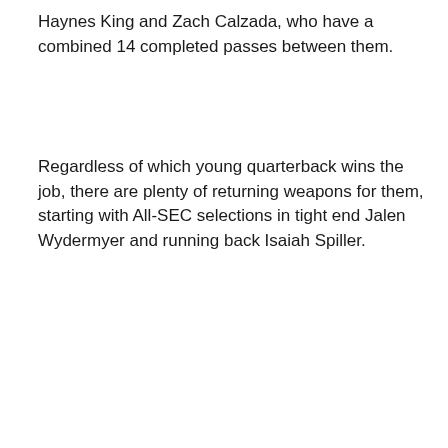Haynes King and Zach Calzada, who have a combined 14 completed passes between them.
Regardless of which young quarterback wins the job, there are plenty of returning weapons for them, starting with All-SEC selections in tight end Jalen Wydermyer and running back Isaiah Spiller.